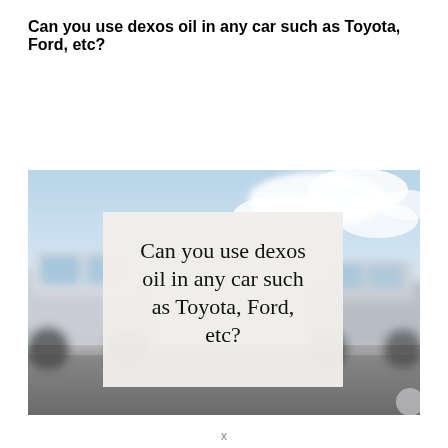Can you use dexos oil in any car such as Toyota, Ford, etc?
[Figure (photo): Photo of a car dealership lot with multiple vehicles parked under a blue sky with clouds. Overlaid on the photo is a white/light gray box containing serif text that reads: 'Can you use dexos oil in any car such as Toyota, Ford, etc?']